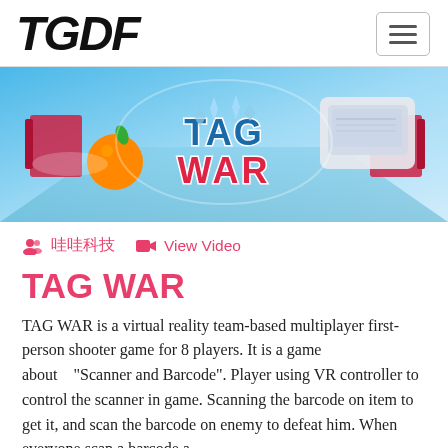TGDF
[Figure (illustration): TAG WAR game banner showing a blue VR arena scene with an orange fruit flying, and the TAG WAR logo in the center with icy blue and red stylized letters. Red barrier panels on left and right edges. A white scanner device visible on the right.]
哇哇科技   View Video
TAG WAR
TAG WAR is a virtual reality team-based multiplayer first-person shooter game for 8 players. It is a game about “Scanner and Barcode”. Player using VR controller to control the scanner in game. Scanning the barcode on item to get it, and scan the barcode on enemy to defeat him. When everyone scan a barcode a